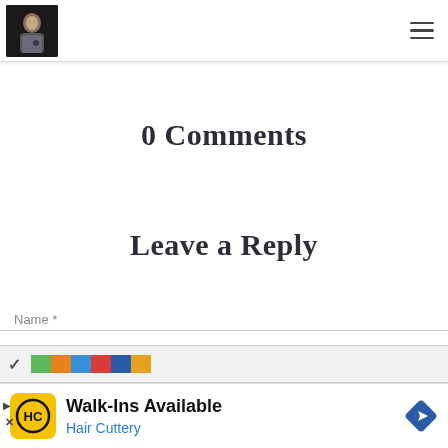[logo image] [hamburger menu icon]
0 Comments
Leave a Reply
Name *
[Figure (screenshot): Browser toolbar with chevron/down arrow and colored block segments (green, orange, blue, red, dark blue, orange)]
[Figure (infographic): Advertisement banner: Hair Cuttery logo (HC in circle on yellow background), text 'Walk-Ins Available' and 'Hair Cuttery' in blue, navigation diamond icon on right]